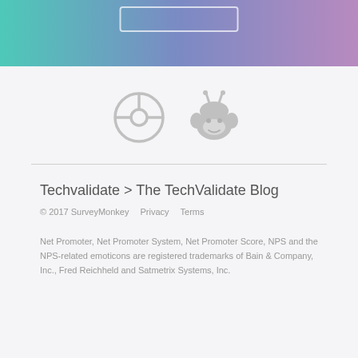[Figure (illustration): Gradient header bar transitioning from teal/green on the left through blue-purple in the center to muted pink-purple on the right, with a white outlined rectangular button near the top center.]
[Figure (logo): Two company logos side by side in light gray: a circular logo with a T-shaped steering wheel symbol (TechValidate) on the left, and a SurveyMonkey monkey logo on the right.]
Techvalidate > The TechValidate Blog
© 2017 SurveyMonkey    Privacy    Terms
Net Promoter, Net Promoter System, Net Promoter Score, NPS and the NPS-related emoticons are registered trademarks of Bain & Company, Inc., Fred Reichheld and Satmetrix Systems, Inc.